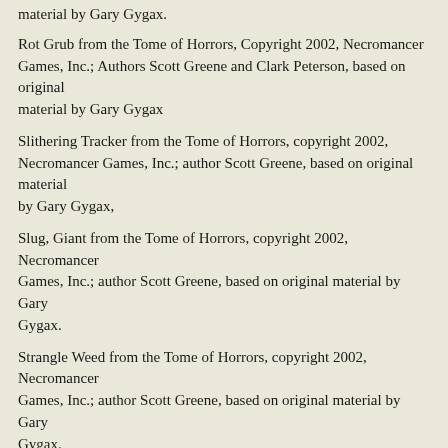material by Gary Gygax.
Rot Grub from the Tome of Horrors, Copyright 2002, Necromancer Games, Inc.; Authors Scott Greene and Clark Peterson, based on original material by Gary Gygax
Slithering Tracker from the Tome of Horrors, copyright 2002, Necromancer Games, Inc.; author Scott Greene, based on original material by Gary Gygax,
Slug, Giant from the Tome of Horrors, copyright 2002, Necromancer Games, Inc.; author Scott Greene, based on original material by Gary Gygax.
Strangle Weed from the Tome of Horrors, copyright 2002, Necromancer Games, Inc.; author Scott Greene, based on original material by Gary Gygax.
Swords & Wizardry Core Rules, Copyright 2008, Matthew J. Finch
Tick, Giant from the Tome of Horrors, copyright 2002,